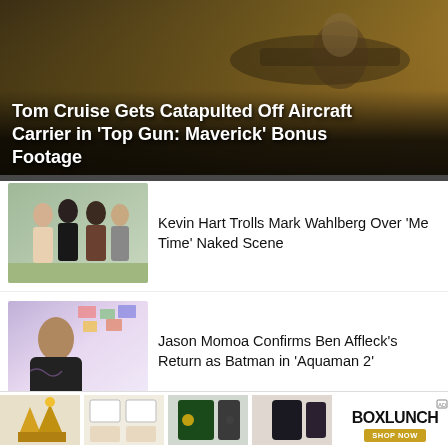[Figure (photo): Tom Cruise in fighter pilot gear near aircraft carrier, dramatic sky background — Top Gun: Maverick promotional image]
Tom Cruise Gets Catapulted Off Aircraft Carrier in 'Top Gun: Maverick' Bonus Footage
[Figure (photo): Kevin Hart and Mark Wahlberg on a film set outdoors]
Kevin Hart Trolls Mark Wahlberg Over 'Me Time' Naked Scene
[Figure (photo): Jason Momoa posing in a studio with colorful cards in the background]
Jason Momoa Confirms Ben Affleck's Return as Batman in 'Aquaman 2'
[Figure (photo): Ana de Armas — partial thumbnail visible]
Ana de Armas Transforms Into Marilyn
[Figure (other): BoxLunch advertisement banner with Harry Potter merchandise products and BoxLunch logo with SHOP NOW button]